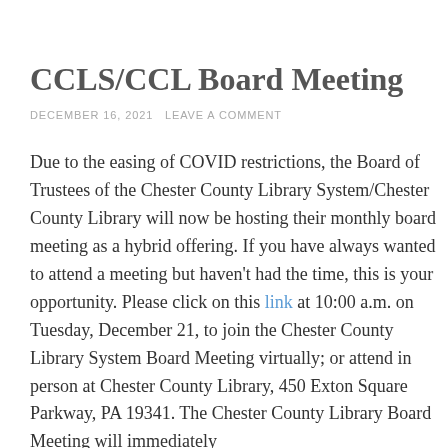CCLS/CCL Board Meeting
DECEMBER 16, 2021 LEAVE A COMMENT
Due to the easing of COVID restrictions, the Board of Trustees of the Chester County Library System/Chester County Library will now be hosting their monthly board meeting as a hybrid offering. If you have always wanted to attend a meeting but haven't had the time, this is your opportunity. Please click on this link at 10:00 a.m. on Tuesday, December 21, to join the Chester County Library System Board Meeting virtually; or attend in person at Chester County Library, 450 Exton Square Parkway, PA 19341. The Chester County Library Board Meeting will immediately